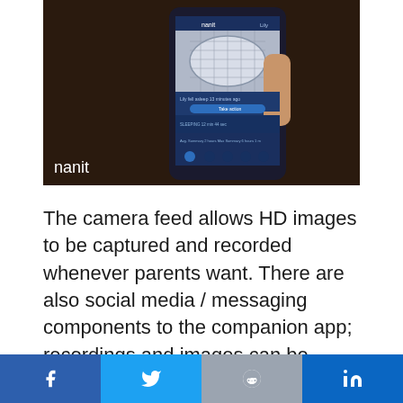[Figure (photo): A hand holding a smartphone displaying the Nanit baby monitor app. The app shows a baby crib from above via camera feed, with text 'Lily fell asleep 13 minutes ago' and various stats. The Nanit logo appears in the lower-left corner of the image.]
The camera feed allows HD images to be captured and recorded whenever parents want. There are also social media / messaging components to the companion app; recordings and images can be shared with friends and family, digital scrapbooks can also be created and…
f  Twitter  Reddit  in